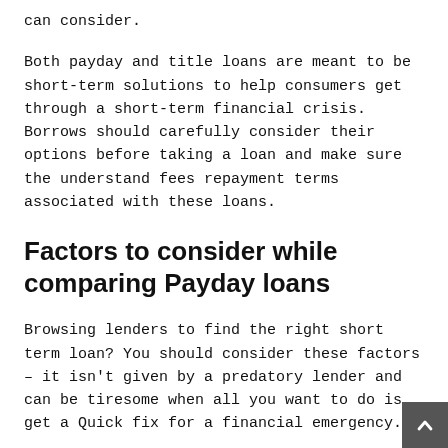can consider.
Both payday and title loans are meant to be short-term solutions to help consumers get through a short-term financial crisis. Borrows should carefully consider their options before taking a loan and make sure the understand fees repayment terms associated with these loans.
Factors to consider while comparing Payday loans
Browsing lenders to find the right short term loan? You should consider these factors – it isn't given by a predatory lender and can be tiresome when all you want to do is get a Quick fix for a financial emergency.